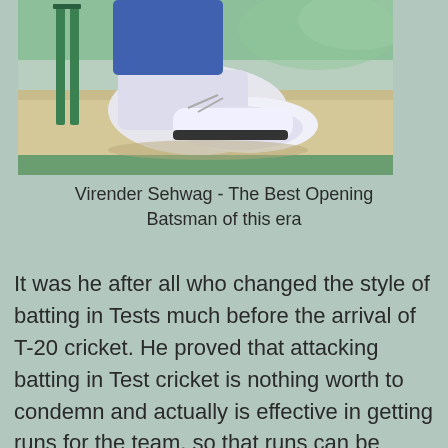[Figure (photo): Cricket player's boot/shoe near green stumps on a cricket pitch, close-up action shot]
Virender Sehwag - The Best Opening Batsman of this era
It was he after all who changed the style of batting in Tests much before the arrival of T-20 cricket. He proved that attacking batting in Test cricket is nothing worth to condemn and actually is effective in getting runs for the team, so that runs can be scored at a quick rate and the bowlers will have enough time to bowl out the opposition.